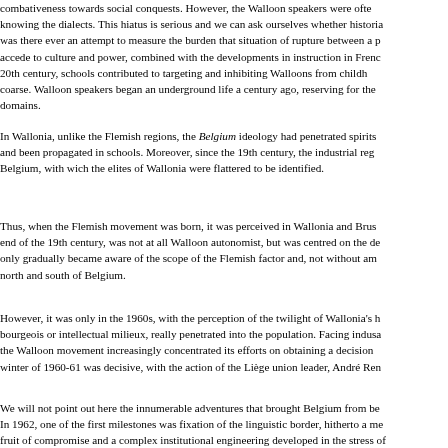combativeness towards social conquests. However, the Walloon speakers were often knowing the dialects. This hiatus is serious and we can ask ourselves whether historia was there ever an attempt to measure the burden that situation of rupture between a p accede to culture and power, combined with the developments in instruction in Frenc 20th century, schools contributed to targeting and inhibiting Walloons from childh coarse. Walloon speakers began an underground life a century ago, reserving for the domains.
In Wallonia, unlike the Flemish regions, the Belgium ideology had penetrated spirits and been propagated in schools. Moreover, since the 19th century, the industrial reg Belgium, with wich the elites of Wallonia were flattered to be identified.
Thus, when the Flemish movement was born, it was perceived in Wallonia and Brus end of the 19th century, was not at all Walloon autonomist, but was centred on the de only gradually became aware of the scope of the Flemish factor and, not without am north and south of Belgium.
However, it was only in the 1960s, with the perception of the twilight of Wallonia's h bourgeois or intellectual milieux, really penetrated into the population. Facing indust the Walloon movement increasingly concentrated its efforts on obtaining a decision winter of 1960-61 was decisive, with the action of the Liège union leader, André Ren
We will not point out here the innumerable adventures that brought Belgium from be In 1962, one of the first milestones was fixation of the linguistic border, hitherto a m fruit of compromise and a complex institutional engineering developed in the stress o incomprehensible hybrid (a chimera in the proper sense). After various phases of ad